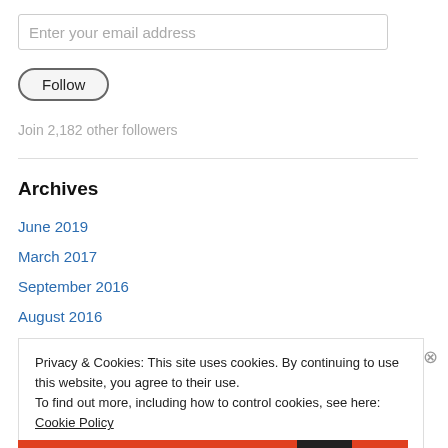Enter your email address
Follow
Join 2,182 other followers
Archives
June 2019
March 2017
September 2016
August 2016
Privacy & Cookies: This site uses cookies. By continuing to use this website, you agree to their use.
To find out more, including how to control cookies, see here: Cookie Policy
Close and accept